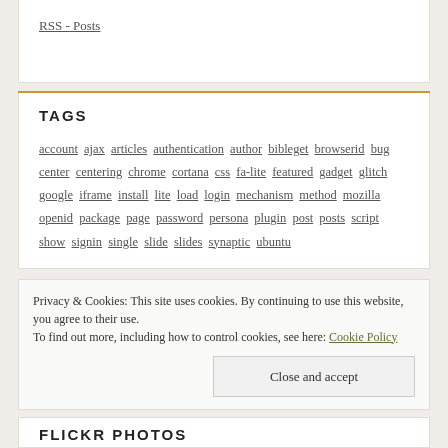RSS - Posts
TAGS
account ajax articles authentication author bibleget browserid bug center centering chrome cortana css fa-lite featured gadget glitch google iframe install lite load login mechanism method mozilla openid package page password persona plugin post posts script show signin single slide slides synaptic ubuntu
Privacy & Cookies: This site uses cookies. By continuing to use this website, you agree to their use. To find out more, including how to control cookies, see here: Cookie Policy
Close and accept
FLICKR PHOTOS